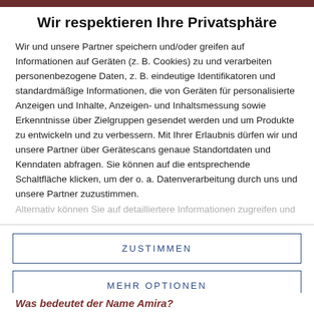Wir respektieren Ihre Privatsphäre
Wir und unsere Partner speichern und/oder greifen auf Informationen auf Geräten (z. B. Cookies) zu und verarbeiten personenbezogene Daten, z. B. eindeutige Identifikatoren und standardmäßige Informationen, die von Geräten für personalisierte Anzeigen und Inhalte, Anzeigen- und Inhaltsmessung sowie Erkenntnisse über Zielgruppen gesendet werden und um Produkte zu entwickeln und zu verbessern. Mit Ihrer Erlaubnis dürfen wir und unsere Partner über Gerätescans genaue Standortdaten und Kenndaten abfragen. Sie können auf die entsprechende Schaltfläche klicken, um der o. a. Datenverarbeitung durch uns und unsere Partner zuzustimmen.
Alternativ können Sie auf detailliertere Informationen zugreifen und
ZUSTIMMEN
MEHR OPTIONEN
Was bedeutet der Name Amira?